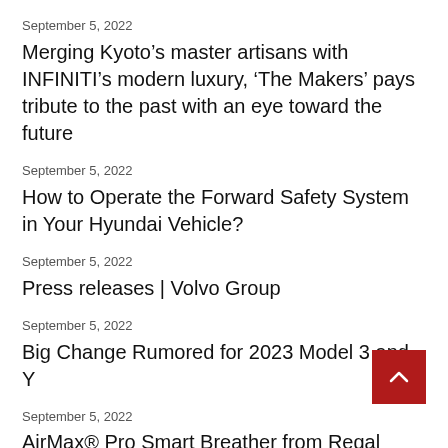September 5, 2022
Merging Kyoto’s master artisans with INFINITI’s modern luxury, ‘The Makers’ pays tribute to the past with an eye toward the future
September 5, 2022
How to Operate the Forward Safety System in Your Hyundai Vehicle?
September 5, 2022
Press releases | Volvo Group
September 5, 2022
Big Change Rumored for 2023 Model 3 and Y
September 5, 2022
AirMax® Pro Smart Breather from Regal Rexnord Keeps Industrial Gearboxes Running Longer
September 5, 2022
How Does The Inventory Shortage Impact Car